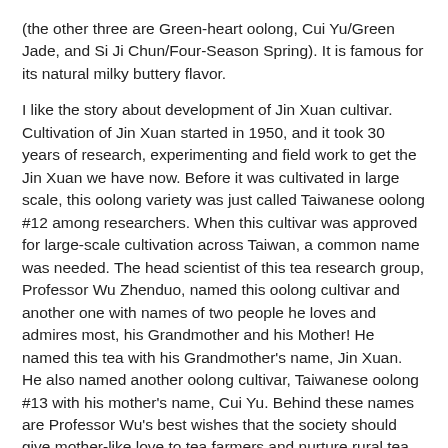(the other three are Green-heart oolong, Cui Yu/Green Jade, and Si Ji Chun/Four-Season Spring). It is famous for its natural milky buttery flavor.
I like the story about development of Jin Xuan cultivar. Cultivation of Jin Xuan started in 1950, and it took 30 years of research, experimenting and field work to get the Jin Xuan we have now. Before it was cultivated in large scale, this oolong variety was just called Taiwanese oolong #12 among researchers. When this cultivar was approved for large-scale cultivation across Taiwan, a common name was needed. The head scientist of this tea research group, Professor Wu Zhenduo, named this oolong cultivar and another one with names of two people he loves and admires most, his Grandmother and his Mother! He named this tea with his Grandmother's name, Jin Xuan. He also named another oolong cultivar, Taiwanese oolong #13 with his mother's name, Cui Yu. Behind these names are Professor Wu's best wishes that the society should give mother-like love to tea farmers and nurture rural tea economy.
Jin Xuan (literally meaning Golden Tiger Lily) and Cui Yu